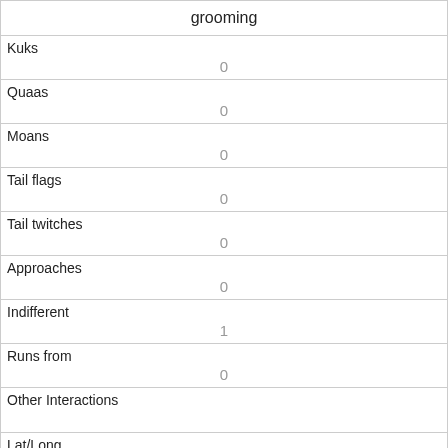| grooming |
| --- |
| Kuks | 0 |
| Quaas | 0 |
| Moans | 0 |
| Tail flags | 0 |
| Tail twitches | 0 |
| Approaches | 0 |
| Indifferent | 1 |
| Runs from | 0 |
| Other Interactions |  |
| Lat/Long |  |